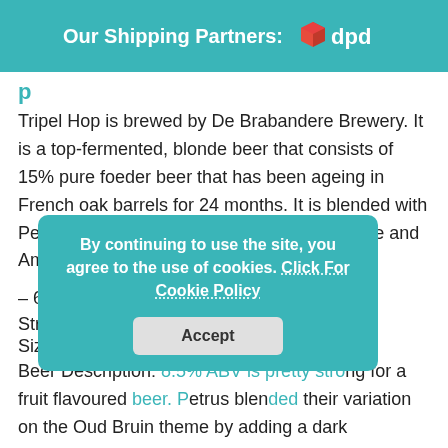Our Shipping Partners: dpd
Tripel Hop (partially visible)
Tripel Hop is brewed by De Brabandere Brewery. It is a top-fermented, blonde beer that consists of 15% pure foeder beer that has been ageing in French oak barrels for 24 months. It is blended with Petrus Tripel and 2 American hops – Cascade and Amarillo.
– 6x Petrus Aged Red
Strength: 8.5% ABV
Size of Bottle: 330ml
Beer Description: 8.5% ABV is pretty strong for a fruit flavoured beer. Petrus blended their variation on the Oud Bruin theme by adding a dark
By continuing to use the site, you agree to the use of cookies. Click For Cookie Policy  Accept